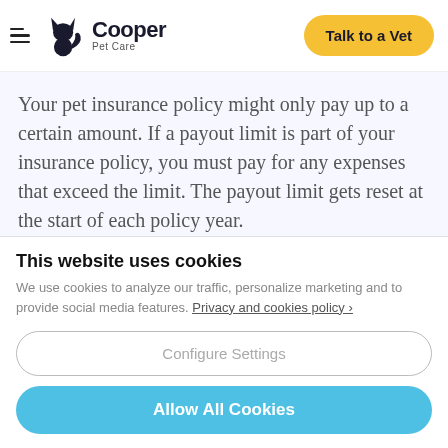Cooper Pet Care — Talk to a Vet
Your pet insurance policy might only pay up to a certain amount. If a payout limit is part of your insurance policy, you must pay for any expenses that exceed the limit. The payout limit gets reset at the start of each policy year.
This website uses cookies
We use cookies to analyze our traffic, personalize marketing and to provide social media features. Privacy and cookies policy ›
Configure Settings
Allow All Cookies